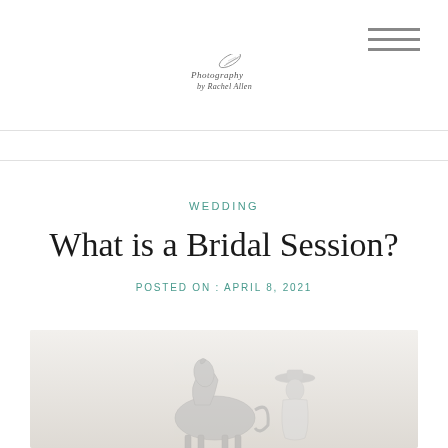Photography by Rachel Allen — logo/branding header with hamburger menu
WEDDING
What is a Bridal Session?
POSTED ON : APRIL 8, 2021
[Figure (photo): Bridal session photo showing a bride with a horse in a light, airy outdoor setting — partially visible, grayscale/muted tones]